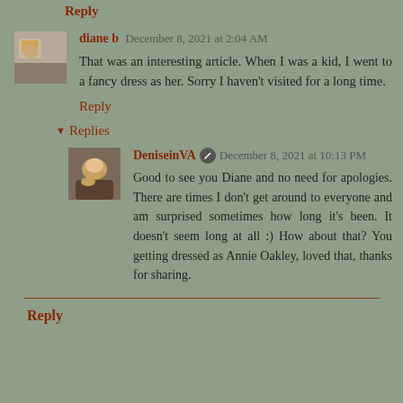Reply
diane b  December 8, 2021 at 2:04 AM
That was an interesting article. When I was a kid, I went to a fancy dress as her. Sorry I haven't visited for a long time.
Reply
Replies
DeniseinVA  December 8, 2021 at 10:13 PM
Good to see you Diane and no need for apologies. There are times I don't get around to everyone and am surprised sometimes how long it's been. It doesn't seem long at all :) How about that? You getting dressed as Annie Oakley, loved that, thanks for sharing.
Reply